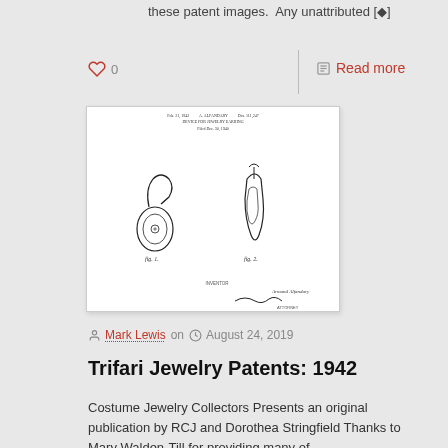these patent images.  Any unattributed [◆]
♡ 0
Read more
[Figure (other): A patent drawing page dated Feb. 21, 1942 showing two views of a jewelry earring design, with handwritten signature at the bottom.]
Mark Lewis on  August 24, 2019
Trifari Jewelry Patents: 1942
Costume Jewelry Collectors Presents an original publication by RCJ and Dorothea Stringfield Thanks to Mary Walden-Till for providing many of